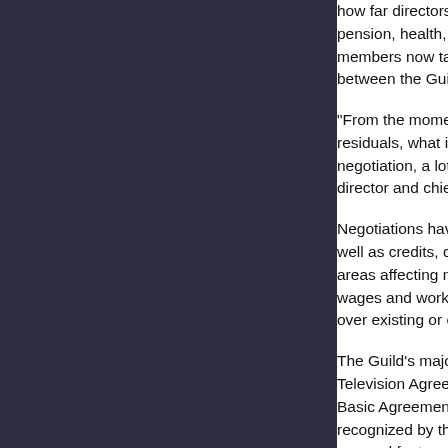how far directors and their teams have come in a relative short time. pension, health, minimums, director's cut, credits - just about everything members now take for granted were achieved through hard-fought negotiations between the Guild and representatives of the studios,
"From the moment a Guild member takes a project, an understanding of residuals, what it means to be part of a DGA team came through negotiation, a lot of hard work and planning," says Jay director and chief negotiator since he joined the Guild
Negotiations have achieved fundamental gains in economics and creativity as well as credits, qualification lists, the grievance and arbitration, and other areas affecting members. Economic advancements ranged from minimum wages and working conditions to residuals, pension and health, and jurisdiction over existing or emerging forms of production.
The Guild's major contracts are the Basic Agreement, Television Agreement, the Network Agreement and the Basic Agreement was established soon after the then- recognized by the studios as a collective bargaining unit covered feature film work, a separate contract, the Net in the 1950s to cover staff and freelance employees at of independently-produced live and taped television pr the FLTTA. A separate Commercials Contract covers n
Creative rights arose to protect the artistic integrity of t for preparation to the right to a director's cut and partic production. Prior to 1964, directors had no guaranteed film or TV program. Unless they had the clout to negot limited to viewing the first rough cut and making sugge producer. Concern about this issue led to the concept a negotiated right to a director's cut. Dozens of other ri directors to better realize their vision.